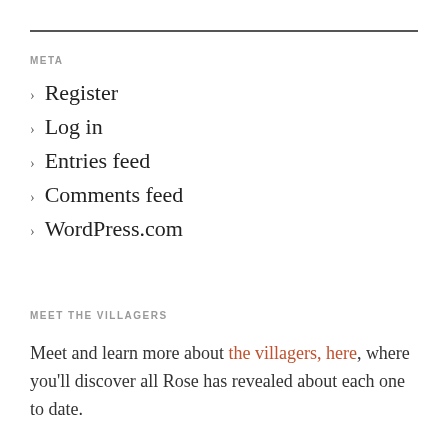META
Register
Log in
Entries feed
Comments feed
WordPress.com
MEET THE VILLAGERS
Meet and learn more about the villagers, here, where you'll discover all Rose has revealed about each one to date.